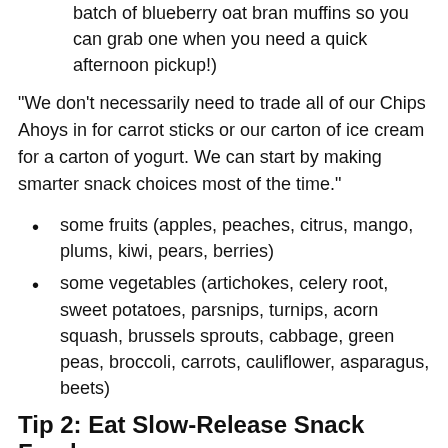batch of blueberry oat bran muffins so you can grab one when you need a quick afternoon pickup!)
"We don't necessarily need to trade all of our Chips Ahoys in for carrot sticks or our carton of ice cream for a carton of yogurt. We can start by making smarter snack choices most of the time."
some fruits (apples, peaches, citrus, mango, plums, kiwi, pears, berries)
some vegetables (artichokes, celery root, sweet potatoes, parsnips, turnips, acorn squash, brussels sprouts, cabbage, green peas, broccoli, carrots, cauliflower, asparagus, beets)
Tip 2: Eat Slow-Release Snack Foods
The following foods, even in large amounts and if eaten alone, are not likely to result in a big rise in blood sugar. (Because they have a low glycemic index...)